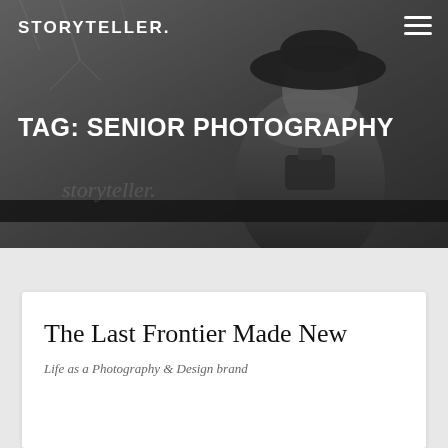STORYTELLER.
[Figure (photo): Grayscale hero photo of a woman wearing a wide-brim hat and scarf, holding a camera, smiling, standing outdoors near a railing. Background shows trees.]
TAG: SENIOR PHOTOGRAPHY
The Last Frontier Made New
Life as a Photography & Design brand